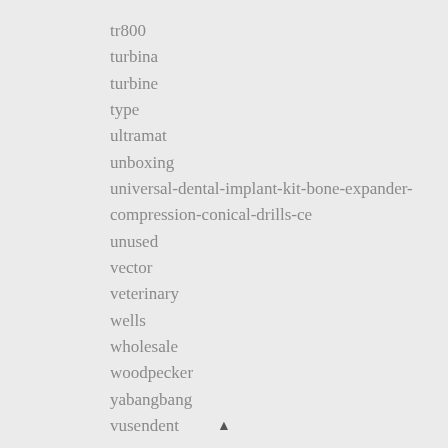tr800
turbina
turbine
type
ultramat
unboxing
universal-dental-implant-kit-bone-expander-compression-conical-drills-ce
unused
vector
veterinary
wells
wholesale
woodpecker
yabangbang
vusendent
▲